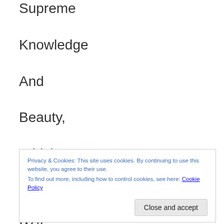Supreme
Knowledge
And
Beauty,
Which
Unites
With
Privacy & Cookies: This site uses cookies. By continuing to use this website, you agree to their use. To find out more, including how to control cookies, see here: Cookie Policy
All